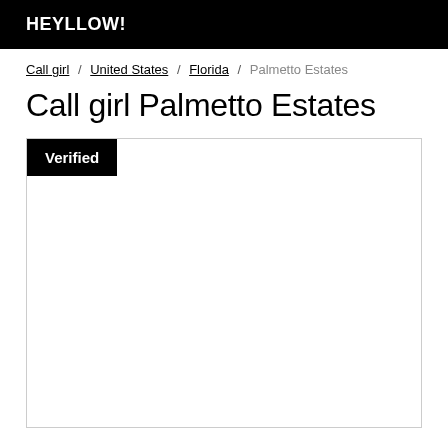HEYLLOW!
Call girl / United States / Florida / Palmetto Estates
Call girl Palmetto Estates
[Figure (other): A listing card with a 'Verified' badge in the top-left corner, mostly empty white content area with a border.]